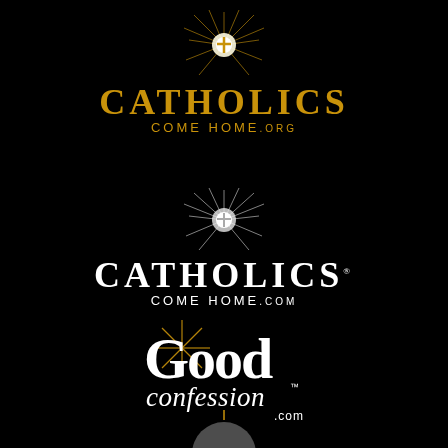[Figure (logo): Catholics Come Home .org logo with golden starburst/cross and gold text on black background]
[Figure (logo): Catholics Come Home .com logo with white starburst/cross and white text on black background]
[Figure (logo): Good Confession .com logo with gold starburst star and white serif text on black background]
[Figure (logo): Partial circular logo at bottom, cut off]